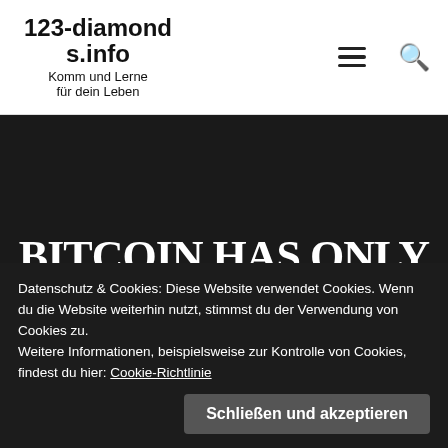123-diamonds.info
Komm und Lerne für dein Leben
BITCOIN HAS ONLY DONE THIS ONCE, BEFORE!!! BITCOIN
Datenschutz & Cookies: Diese Website verwendet Cookies. Wenn du die Website weiterhin nutzt, stimmst du der Verwendung von Cookies zu. Weitere Informationen, beispielsweise zur Kontrolle von Cookies, findest du hier: Cookie-Richtlinie
Schließen und akzeptieren